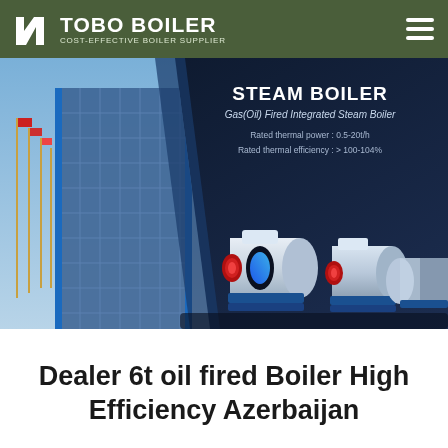TOBO BOILER — COST-EFFECTIVE BOILER SUPPLIER
[Figure (photo): Banner advertisement for Steam Boiler product. Left side shows a modern glass-curtain building exterior with flagpoles. Right side on dark navy background shows bold text 'STEAM BOILER', subtitle 'Gas(Oil) Fired Integrated Steam Boiler', specs 'Rated thermal power: 0.5-20t/h', 'Rated thermal efficiency: > 100-104%'. Three industrial horizontal steam boiler units are displayed in 3D render at the bottom, white and blue colored with red burner fronts.]
Dealer 6t oil fired Boiler High Efficiency Azerbaijan